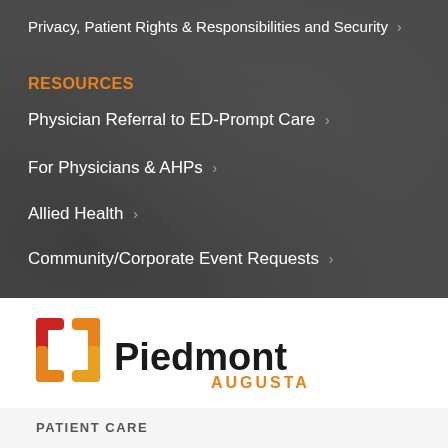Privacy, Patient Rights & Responsibilities and Security >
RESOURCES
Physician Referral to ED-Prompt Care >
For Physicians & AHPs >
Allied Health >
Community/Corporate Event Requests >
[Figure (logo): Piedmont Augusta logo with orange and red square bracket icon and text 'Piedmont AUGUSTA']
PATIENT CARE